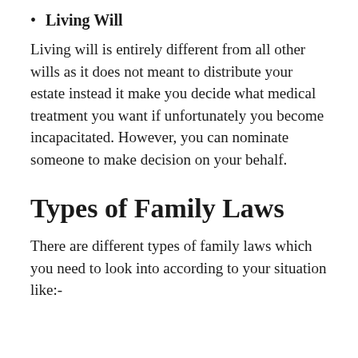Living Will
Living will is entirely different from all other wills as it does not meant to distribute your estate instead it make you decide what medical treatment you want if unfortunately you become incapacitated. However, you can nominate someone to make decision on your behalf.
Types of Family Laws
There are different types of family laws which you need to look into according to your situation like:-